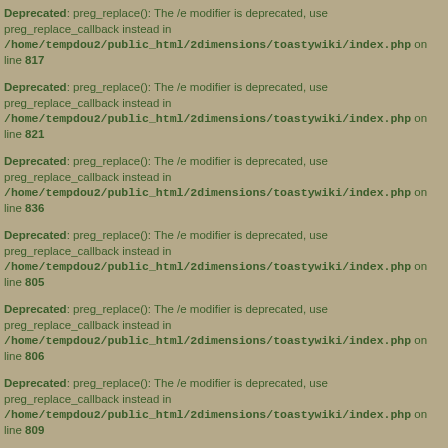Deprecated: preg_replace(): The /e modifier is deprecated, use preg_replace_callback instead in /home/tempdou2/public_html/2dimensions/toastywiki/index.php on line 817
Deprecated: preg_replace(): The /e modifier is deprecated, use preg_replace_callback instead in /home/tempdou2/public_html/2dimensions/toastywiki/index.php on line 821
Deprecated: preg_replace(): The /e modifier is deprecated, use preg_replace_callback instead in /home/tempdou2/public_html/2dimensions/toastywiki/index.php on line 836
Deprecated: preg_replace(): The /e modifier is deprecated, use preg_replace_callback instead in /home/tempdou2/public_html/2dimensions/toastywiki/index.php on line 805
Deprecated: preg_replace(): The /e modifier is deprecated, use preg_replace_callback instead in /home/tempdou2/public_html/2dimensions/toastywiki/index.php on line 806
Deprecated: preg_replace(): The /e modifier is deprecated, use preg_replace_callback instead in /home/tempdou2/public_html/2dimensions/toastywiki/index.php on line 809
Deprecated: preg_replace(): The /e modifier is deprecated, use preg_replace_callback instead in